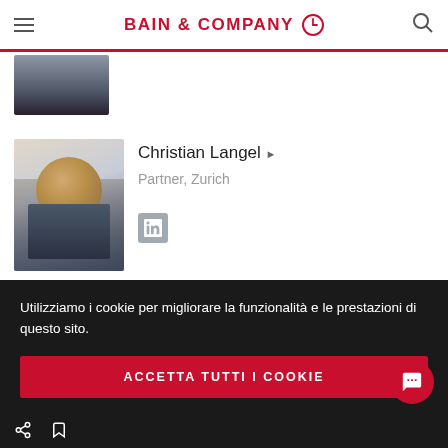BAIN & COMPANY
[Figure (photo): Partial profile photo of a person in dark jacket, cropped at top]
[Figure (photo): Profile photo of Christian Langel, smiling man in suit]
Christian Langel ▶
Partner, Zurich
[Figure (logo): LinkedIn icon]
[Figure (photo): Partial profile photo of Loïc Plantevin]
Loïc Plantevin ▶
Utilizziamo i cookie per migliorare la funzionalità e le prestazioni di questo sito.
ACCETTA TUTTI I COOKIE